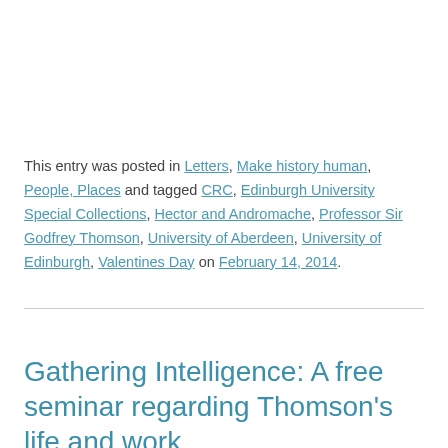This entry was posted in Letters, Make history human, People, Places and tagged CRC, Edinburgh University Special Collections, Hector and Andromache, Professor Sir Godfrey Thomson, University of Aberdeen, University of Edinburgh, Valentines Day on February 14, 2014.
Gathering Intelligence: A free seminar regarding Thomson's life and work